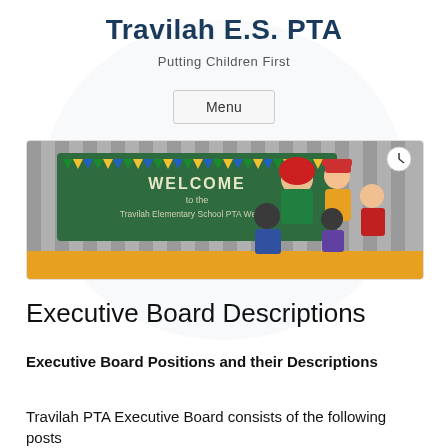Travilah E.S. PTA
Putting Children First
Menu
[Figure (illustration): Welcome banner for Travilah Elementary School PTA Website. Shows a green chalkboard with colorful triangle bunting flags reading WELCOME to the Travilah Elementary School PTA Website, with cartoon children on the right side against a striped grey background with an orange floor.]
Executive Board Descriptions
Executive Board Positions and their Descriptions
Travilah PTA Executive Board consists of the following posts